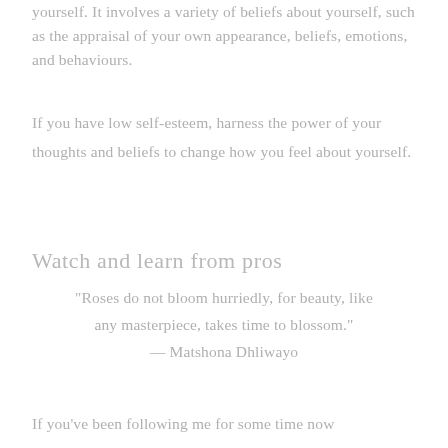yourself. It involves a variety of beliefs about yourself, such as the appraisal of your own appearance, beliefs, emotions, and behaviours.
If you have low self-esteem, harness the power of your thoughts and beliefs to change how you feel about yourself.
Watch and learn from pros
“Roses do not bloom hurriedly, for beauty, like any masterpiece, takes time to blossom.” — Matshona Dhliwayo
If you’ve been following me for some time now